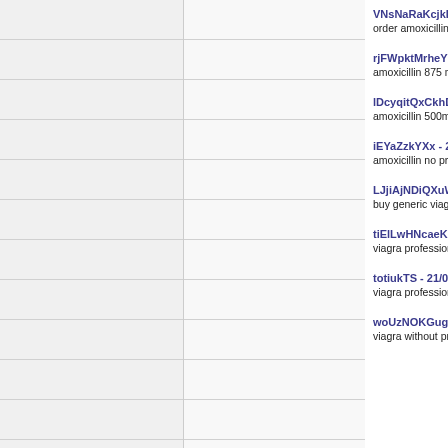VNsNaRaKcjkBHEz... | order amoxicillin no p...
rjFWpktMrheYYANb... | amoxicillin 875 mg ta...
lDcyqitQxCkhDPbzV... | amoxicillin 500mg no...
iEYaZzkYXx - 20/03/... | amoxicillin no prescrip...
LJjiAjNDiQXuWyvm... | buy generic viagra bu...
tiElLwHNcaeKMMGi... | viagra professional vi...
totiukTS - 21/03/202... | viagra professional vi...
woUzNOKGugCkna... | viagra without prescr...